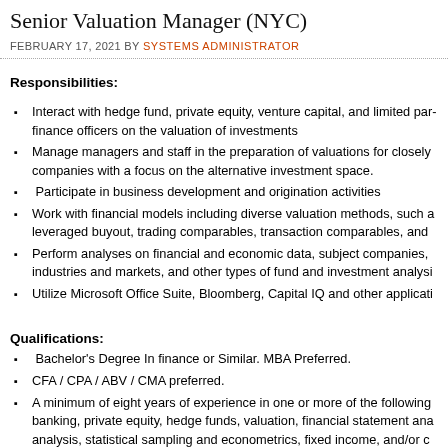Senior Valuation Manager (NYC)
FEBRUARY 17, 2021 BY SYSTEMS ADMINISTRATOR
Responsibilities:
Interact with hedge fund, private equity, venture capital, and limited par... finance officers on the valuation of investments
Manage managers and staff in the preparation of valuations for closely... companies with a focus on the alternative investment space.
Participate in business development and origination activities
Work with financial models including diverse valuation methods, such a... leveraged buyout, trading comparables, transaction comparables, and...
Perform analyses on financial and economic data, subject companies,... industries and markets, and other types of fund and investment analysi...
Utilize Microsoft Office Suite, Bloomberg, Capital IQ and other applicati...
Qualifications:
Bachelor's Degree In finance or Similar. MBA Preferred.
CFA / CPA / ABV / CMA preferred.
A minimum of eight years of experience in one or more of the following... banking, private equity, hedge funds, valuation, financial statement ana... analysis, statistical sampling and econometrics, fixed income, and/or c...